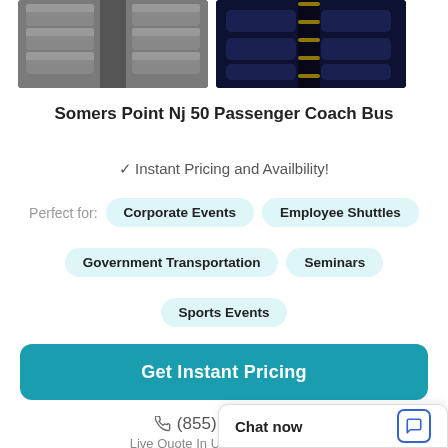[Figure (photo): Two bus interior photos side by side showing passenger seats and aisle]
Somers Point Nj 50 Passenger Coach Bus
✓ Instant Pricing and Availbility!
Perfect for: Corporate Events  Employee Shuttles  Government Transportation  Seminars  Sports Events
Get Instant Pricing
(855) 275-4888  Live Quote In Under 30 Seconds
Chat now